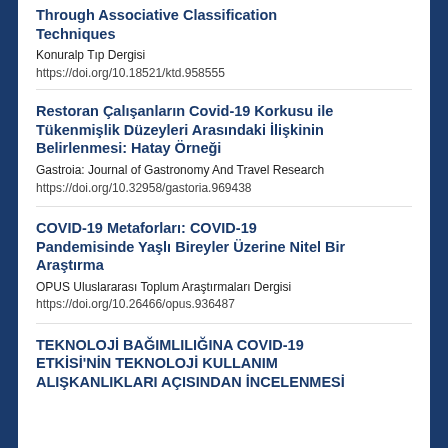Through Associative Classification Techniques
Konuralp Tıp Dergisi
https://doi.org/10.18521/ktd.958555
Restoran Çalışanların Covid-19 Korkusu ile Tükenmişlik Düzeyleri Arasındaki İlişkinin Belirlenmesi: Hatay Örneği
Gastroia: Journal of Gastronomy And Travel Research
https://doi.org/10.32958/gastoria.969438
COVID-19 Metaforları: COVID-19 Pandemisinde Yaşlı Bireyler Üzerine Nitel Bir Araştırma
OPUS Uluslararası Toplum Araştırmaları Dergisi
https://doi.org/10.26466/opus.936487
TEKNOLOJİ BAĞIMLILIĞINA COVID-19 ETKİSİ'NİN TEKNOLOJİ KULLANIM ALIŞKANLIKLARI AÇISINDAN İNCELENMESİ